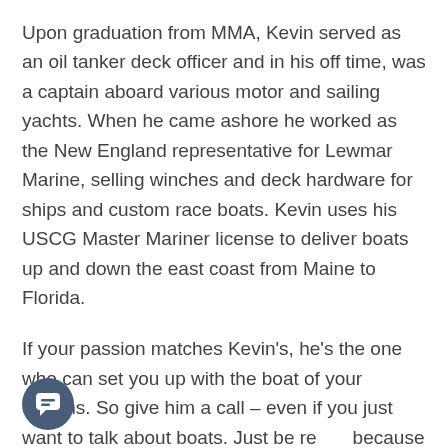Upon graduation from MMA, Kevin served as an oil tanker deck officer and in his off time, was a captain aboard various motor and sailing yachts. When he came ashore he worked as the New England representative for Lewmar Marine, selling winches and deck hardware for ships and custom race boats. Kevin uses his USCG Master Mariner license to deliver boats up and down the east coast from Maine to Florida.
If your passion matches Kevin's, he's the one who can set you up with the boat of your dreams. So give him a call – even if you just want to talk about boats. Just be ready because it won't be a short call!
[Figure (illustration): Dark blue circular chat bubble icon in bottom left corner]